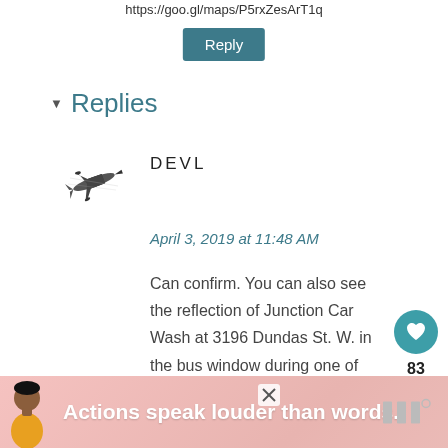https://goo.gl/maps/P5rxZesArT1q
Reply
▾ Replies
[Figure (illustration): Avatar icon showing a stylized military/fighter aircraft in black and white]
DEVL
April 3, 2019 at 11:48 AM
Can confirm. You can also see the reflection of Junction Car Wash at 3196 Dundas St. W. in the bus window during one of Klaus's bus ride scenes.
[Figure (infographic): Like button (heart icon) with count 83 and share button]
[Figure (infographic): Advertisement banner: figure of person, text 'Actions speak louder than words.' with close button and logo]